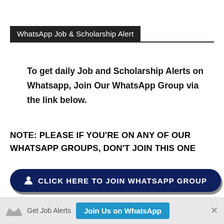WhatsApp Job & Scholarship Alert
To get daily Job and Scholarship Alerts on Whatsapp, Join Our WhatsApp Group via the link below.
NOTE: PLEASE IF YOU'RE ON ANY OF OUR WHATSAPP GROUPS, DON'T JOIN THIS ONE
[Figure (other): Dark navy rounded button labeled CLICK HERE TO JOIN WHATSAPP GROUP with a person/user icon]
Get Job Alerts  Join Us on WhatsApp  ×